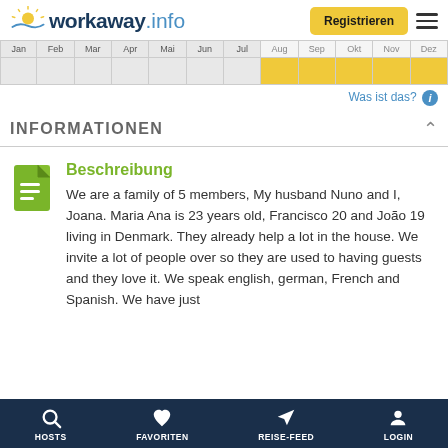workaway.info — Registrieren
[Figure (other): Monthly availability calendar with months Jan through Dez. Aug, Sep, Okt, Nov, Dez are highlighted in yellow, Jan through Jul are grey/inactive.]
Was ist das?
INFORMATIONEN
Beschreibung
We are a family of 5 members, My husband Nuno and I, Joana. Maria Ana is 23 years old, Francisco 20 and João 19 living in Denmark. They already help a lot in the house. We invite a lot of people over so they are used to having guests and they love it. We speak english, german, French and Spanish. We have just
HOSTS   FAVORITEN   REISE-FEED   LOGIN